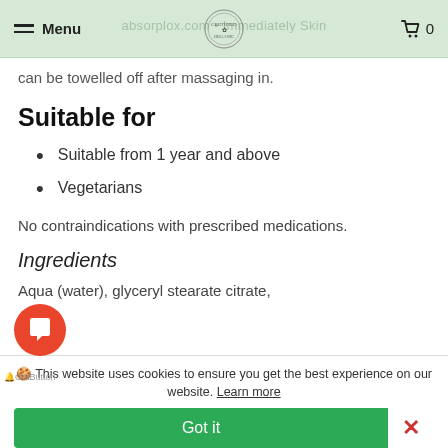Menu | [logo] | Cart 0
can be towelled off after massaging in.
Suitable for
Suitable from 1 year and above
Vegetarians
No contraindications with prescribed medications.
Ingredients
Aqua (water), glyceryl stearate citrate,
🍪 This website uses cookies to ensure you get the best experience on our website. Learn more